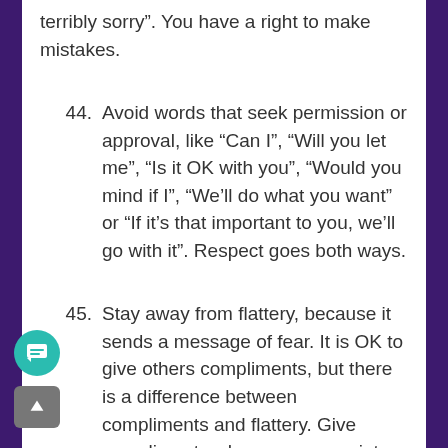terribly sorry”. You have a right to make mistakes.
44. Avoid words that seek permission or approval, like “Can I”, “Will you let me”, “Is it OK with you”, “Would you mind if I”, “We’ll do what you want” or “If it’s that important to you, we’ll go with it”. Respect goes both ways.
45. Stay away from flattery, because it sends a message of fear. It is OK to give others compliments, but there is a difference between compliments and flattery. Give compliments when you appreciate the